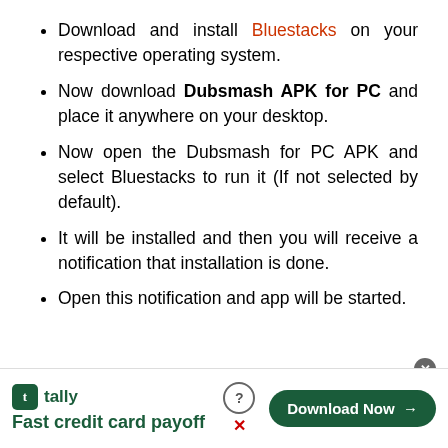Download and install Bluestacks on your respective operating system.
Now download Dubsmash APK for PC and place it anywhere on your desktop.
Now open the Dubsmash for PC APK and select Bluestacks to run it (If not selected by default).
It will be installed and then you will receive a notification that installation is done.
Open this notification and app will be started.
Hopefully, you will be able to install the
[Figure (other): Tally app advertisement banner with 'Fast credit card payoff' tagline and Download Now button]